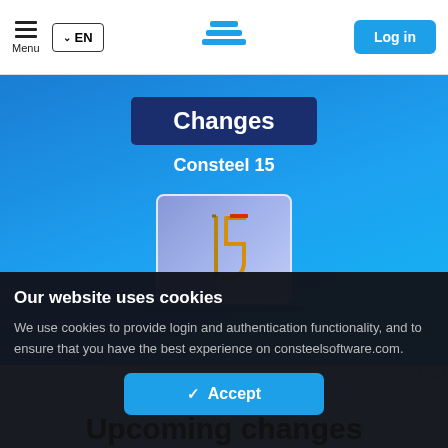Menu  ∨ EN  [logo]  Log in
[Figure (screenshot): Blue hero banner with 'Changes' badge in dark navy box, 'Consteel 15' subtitle, and software icon showing '15' on blue-purple gradient background]
Changes
Consteel 15
Our website uses cookies
We use cookies to provide login and authentication functionality, and to ensure that you have the best experience on consteelsoftware.com.
✓  Accept
Upcoming changes